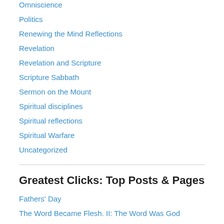Omniscience
Politics
Renewing the Mind Reflections
Revelation
Revelation and Scripture
Scripture Sabbath
Sermon on the Mount
Spiritual disciplines
Spiritual reflections
Spiritual Warfare
Uncategorized
Greatest Clicks: Top Posts & Pages
Fathers' Day
The Word Became Flesh. II: The Word Was God
God Is With Us Always: II. Presence, Power, Purpose
Act, Speak, and Pray
Your Best Life, NOT Now—Second Corinthians 4:16–18